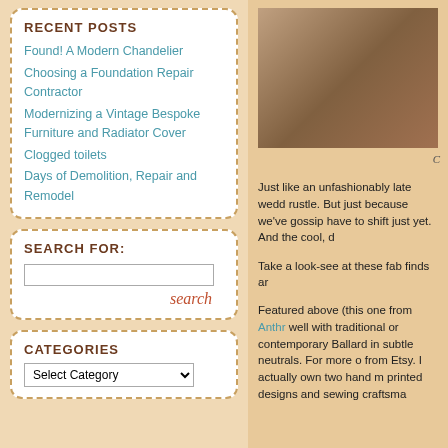RECENT POSTS
Found! A Modern Chandelier
Choosing a Foundation Repair Contractor
Modernizing a Vintage Bespoke Furniture and Radiator Cover
Clogged toilets
Days of Demolition, Repair and Remodel
SEARCH FOR:
CATEGORIES
[Figure (photo): Photo of a chandelier or home decor item, partially visible on the right edge of the page]
Just like an unfashionably late wedd rustle. But just because we've gossip have to shift just yet. And the cool, d
Take a look-see at these fab finds ar
Featured above (this one from Anthr well with traditional or contemporary Ballard in subtle neutrals. For more o from Etsy. I actually own two hand m printed designs and sewing craftsma
[Figure (photo): Small photo at bottom right of content area]